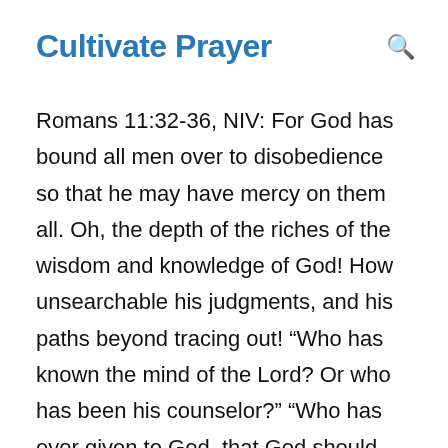Cultivate Prayer
Romans 11:32-36, NIV: For God has bound all men over to disobedience so that he may have mercy on them all. Oh, the depth of the riches of the wisdom and knowledge of God! How unsearchable his judgments, and his paths beyond tracing out! “Who has known the mind of the Lord? Or who has been his counselor?” “Who has ever given to God, that God should